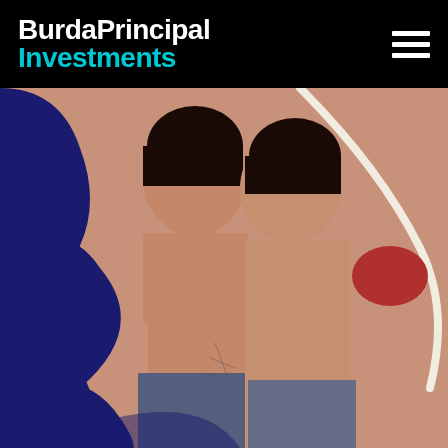BurdaPrincipal Investments
[Figure (photo): Fashion/editorial photograph of two young women posed back-to-back, both with dark hair, against a warm beige/terracotta background with abstract graphic elements including a large navy blue curved stripe, a white curved line, and a red oval shape. The subjects are wearing jeans and have visible tattoos.]